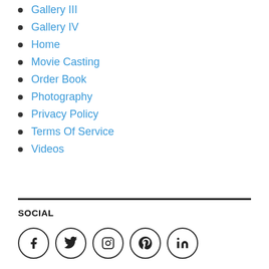Gallery III
Gallery IV
Home
Movie Casting
Order Book
Photography
Privacy Policy
Terms Of Service
Videos
SOCIAL
[Figure (other): Social media icons in circles: Facebook, Twitter, Instagram, Pinterest, LinkedIn]